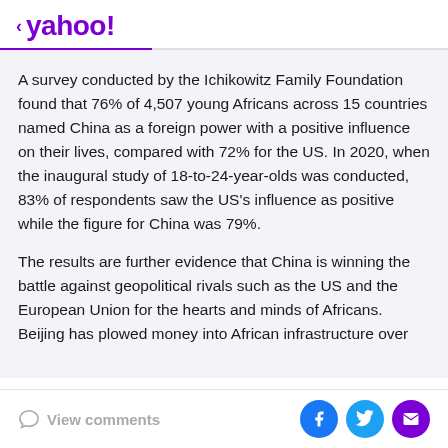< yahoo!
A survey conducted by the Ichikowitz Family Foundation found that 76% of 4,507 young Africans across 15 countries named China as a foreign power with a positive influence on their lives, compared with 72% for the US. In 2020, when the inaugural study of 18-to-24-year-olds was conducted, 83% of respondents saw the US's influence as positive while the figure for China was 79%.
The results are further evidence that China is winning the battle against geopolitical rivals such as the US and the European Union for the hearts and minds of Africans. Beijing has plowed money into African infrastructure over
View comments